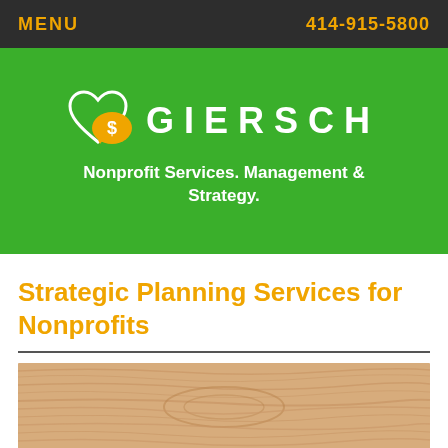MENU   414-915-5800
[Figure (logo): Giersch Nonprofit Services logo on green background with heart/dollar icons and text 'GIERSCH Nonprofit Services. Management & Strategy.']
Strategic Planning Services for Nonprofits
[Figure (photo): Close-up photo of light-colored wood grain texture]